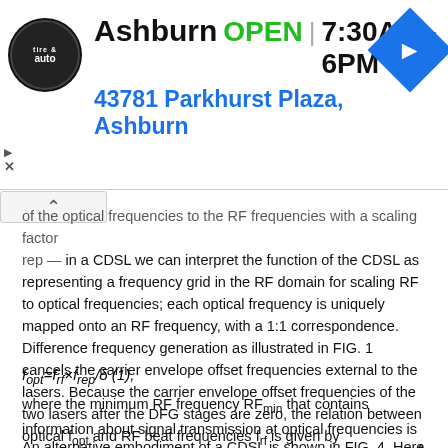[Figure (other): Advertisement banner for Ashburn tire & auto shop showing logo, OPEN status, hours 7:30AM–6PM, address 43781 Parkhurst Plaza Ashburn, and navigation icon]
of the optical frequencies to the RF frequencies with a scaling factor rep — in a CDSL we can interpret the function of the CDSL as representing a frequency grid in the RF domain for scaling RF to optical frequencies; each optical frequency is uniquely mapped onto an RF frequency, with a 1:1 correspondence. Difference frequency generation as illustrated in FIG. 1 cancels the carrier envelope offset frequencies external to the lasers. Because the carrier envelope offset frequencies of the two lasers after the DFG stages are zero, the relation between optical f_opt and RF beat frequencies f_rf is given by
where the minimum RF frequency RF_min that contains information about signal transmission at optical frequencies is given by mδ. Note that since m is a large number (of order 10^4 or higher), RF_min can be of the order of MHz.
An alternative embodiment of a CDSL is shown in FIG. 4. Here the component count is reduced by using two oscillators operating at slightly different repetition rates. The oscillator outputs are combined, and coupled